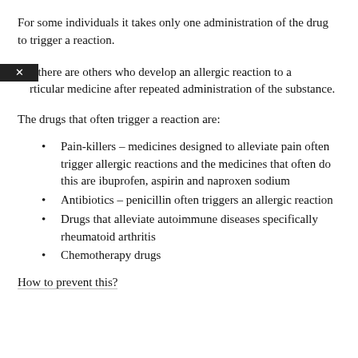For some individuals it takes only one administration of the drug to trigger a reaction.
But there are others who develop an allergic reaction to a particular medicine after repeated administration of the substance.
The drugs that often trigger a reaction are:
Pain-killers – medicines designed to alleviate pain often trigger allergic reactions and the medicines that often do this are ibuprofen, aspirin and naproxen sodium
Antibiotics – penicillin often triggers an allergic reaction
Drugs that alleviate autoimmune diseases specifically rheumatoid arthritis
Chemotherapy drugs
How to prevent this?